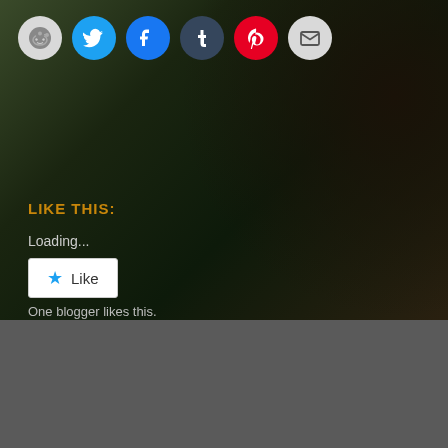[Figure (screenshot): Dark grassy background with social sharing icons (Reddit, Twitter, Facebook, Tumblr, Pinterest, Email) and a Like widget showing 'Loading...' text, a Like button with star icon, and 'One blogger likes this.' text. Orange 'LIKE THIS:' label visible.]
HALO: THE MASTER CHIEF COLLECTION TO HIT PC NEXT WEEK (FOR